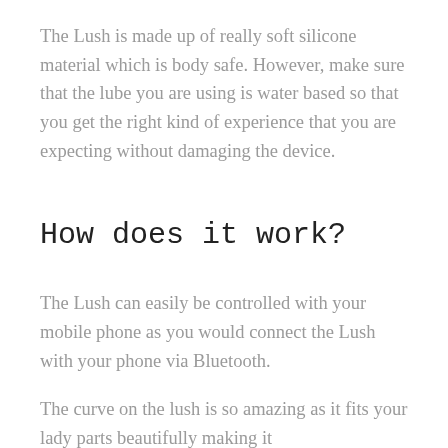The Lush is made up of really soft silicone material which is body safe. However, make sure that the lube you are using is water based so that you get the right kind of experience that you are expecting without damaging the device.
How does it work?
The Lush can easily be controlled with your mobile phone as you would connect the Lush with your phone via Bluetooth.
The curve on the lush is so amazing as it fits your lady parts beautifully making it